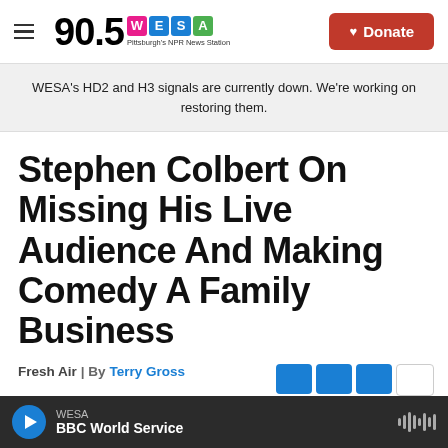90.5 WESA Pittsburgh's NPR News Station | Donate
WESA's HD2 and H3 signals are currently down. We're working on restoring them.
Stephen Colbert On Missing His Live Audience And Making Comedy A Family Business
Fresh Air | By Terry Gross